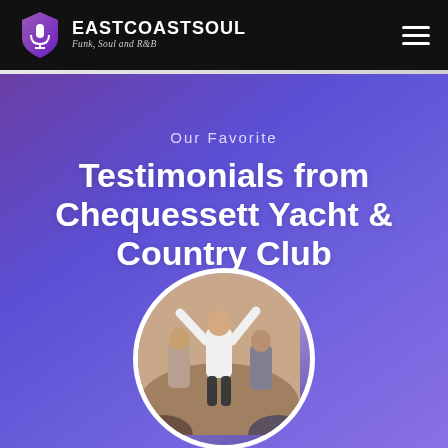EASTCOASTSOUL – Funk, Soul and R&B
Our Favorite
Testimonials from Chequessett Yacht & Country Club
[Figure (photo): A circular cropped photo showing people dancing at an event, with a person in a white shirt raising their arms, at what appears to be a party or wedding reception.]